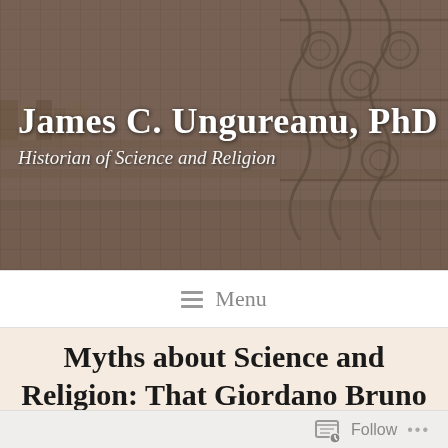[Figure (photo): Sepia-toned background photo of a library with ornate iron railings and bookshelves]
James C. Ungureanu, PhD
Historian of Science and Religion
≡ Menu
Myths about Science and Religion: That Giordano Bruno was the First Martyr of Modern Science
Follow ...